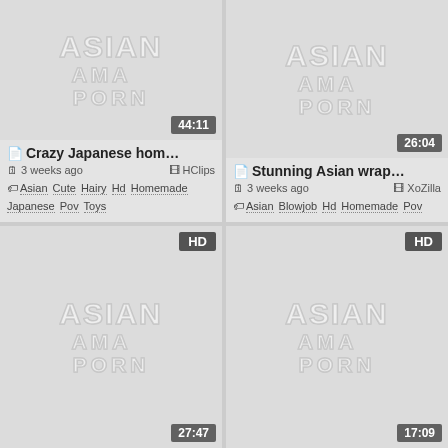[Figure (screenshot): Video thumbnail placeholder with watermark text 'ASIAN AMA PORN', duration badge '44:11']
📄 Crazy Japanese hom…
🗓 3 weeks ago   🎞 HClips
🏷 Asian Cute Hairy Hd Homemade Japanese Pov Toys
[Figure (screenshot): Video thumbnail placeholder with watermark text 'ASIAN AMA PORN', duration badge '26:04']
📄 Stunning Asian wrap…
🗓 3 weeks ago   🎞 XoZilla
🏷 Asian Blowjob Hd Homemade Pov
[Figure (screenshot): Video thumbnail placeholder with watermark text 'ASIAN AMA PORN', duration badge '27:47', HD badge]
[Figure (screenshot): Video thumbnail placeholder with watermark text 'ASIAN AMA PORN', duration badge '17:09', HD badge]